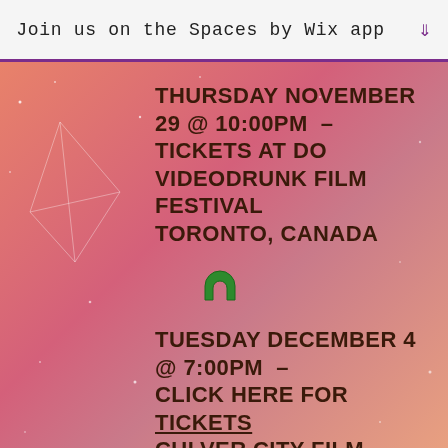Join us on the Spaces by Wix app ↓
THURSDAY NOVEMBER 29 @ 10:00PM  -  TICKETS AT DO VIDEODRUNK FILM FESTIVAL TORONTO, CANADA
[Figure (illustration): Green horseshoe emoji]
TUESDAY DECEMBER 4 @ 7:00PM  -  CLICK HERE FOR TICKETS CULVER CITY FILM FESTIVAL CULVER CITY, LA